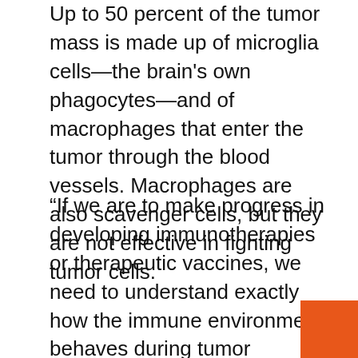Up to 50 percent of the tumor mass is made up of microglia cells—the brain's own phagocytes—and of macrophages that enter the tumor through the blood vessels. Macrophages are also scavenger cells, but they are not effective in fighting tumor cells.
“If we are to make progress in developing immunotherapies or therapeutic vaccines, we need to understand exactly how the immune environment behaves during tumor development. Moreover, we were interested in whether special genetic features of the gliomas have a particular influence on the function of the glioma-associated immune cells,” explained Michael Platten, director of the Department of